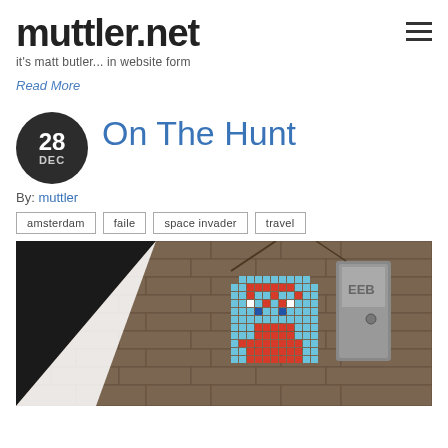muttler.net
it's matt butler... in website form
Read More
On The Hunt
By: muttler
amsterdam
faile
space invader
travel
[Figure (photo): Street art space invader tile mosaic (red ghost character) on a brick wall next to a metal utility box, with a black and white geometric shape on the left]